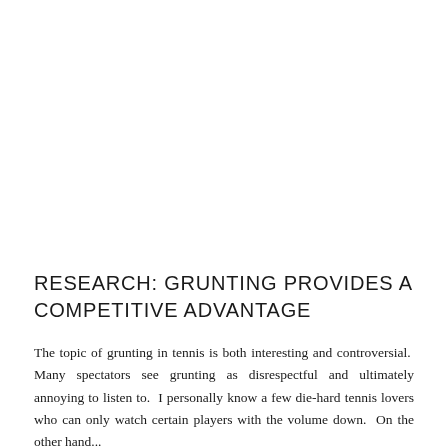RESEARCH: GRUNTING PROVIDES A COMPETITIVE ADVANTAGE
The topic of grunting in tennis is both interesting and controversial. Many spectators see grunting as disrespectful and ultimately annoying to listen to. I personally know a few die-hard tennis lovers who can only watch certain players with the volume down. On the other hand...